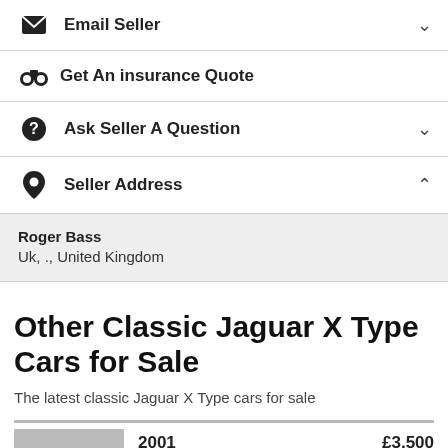Email Seller
Get An insurance Quote
Ask Seller A Question
Seller Address
Roger Bass
Uk, ., United Kingdom
Other Classic Jaguar X Type Cars for Sale
The latest classic Jaguar X Type cars for sale
2001   £3,500